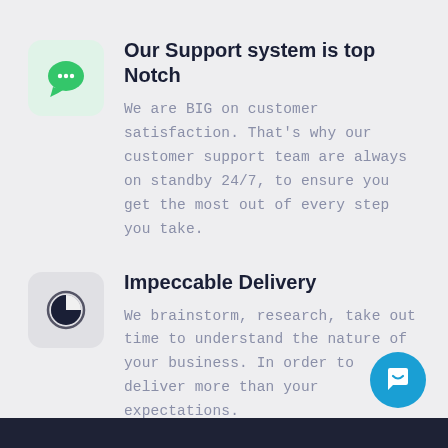[Figure (illustration): Green speech bubble icon on a light green rounded square background]
Our Support system is top Notch
We are BIG on customer satisfaction. That's why our customer support team are always on standby 24/7, to ensure you get the most out of every step you take.
[Figure (illustration): Clock/timer icon showing approximately 75% fill, inside a circle, on a light gray rounded square background]
Impeccable Delivery
We brainstorm, research, take out time to understand the nature of your business. In order to deliver more than your expectations.